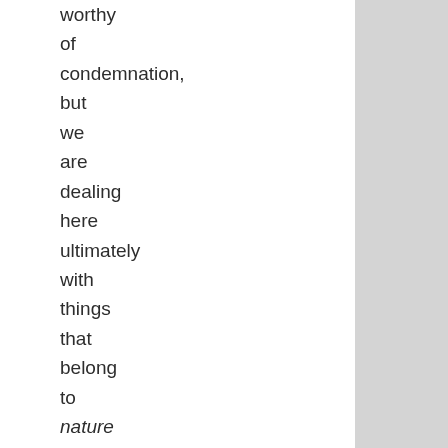worthy of condemnation, but we are dealing here ultimately with things that belong to nature itself (cited 26).
In short, there's a lot about God's world and about the capabilities of